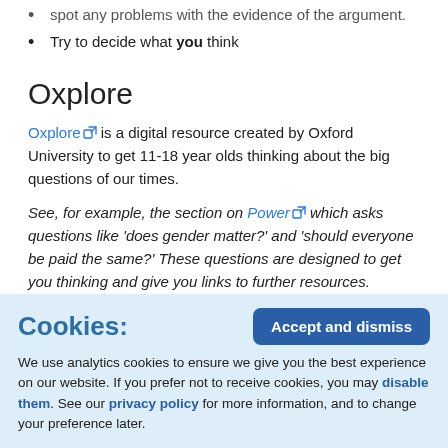spot any problems with the evidence of the argument.
Try to decide what you think
Oxplore
Oxplore is a digital resource created by Oxford University to get 11-18 year olds thinking about the big questions of our times.
See, for example, the section on Power which asks questions like 'does gender matter?' and 'should everyone be paid the same?' These questions are designed to get you thinking and give you links to further resources.
Routes
Cookies: We use analytics cookies to ensure we give you the best experience on our website. If you prefer not to receive cookies, you may disable them. See our privacy policy for more information, and to change your preference later.